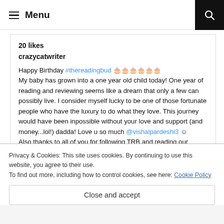Menu
20 likes
crazycatwriter
Happy Birthday #thereadingbud 🎂🎂🎂🎂🎂🎂
My baby has grown into a one year old child today! One year of reading and reviewing seems like a dream that only a few can possibly live. I consider myself lucky to be one of those fortunate people who have the luxury to do what they love. This journey would have been inpossible without your love and support (and money...lol!) dadda! Love u so much @vishalpardeshi3 😊
Also thanks to all of you for following TRB and reading our reviews 😊
Privacy & Cookies: This site uses cookies. By continuing to use this website, you agree to their use.
To find out more, including how to control cookies, see here: Cookie Policy
Close and accept